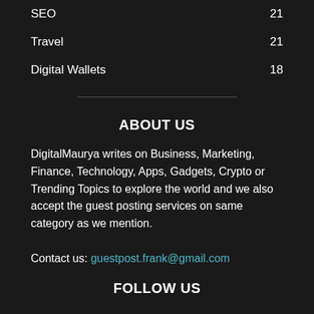SEO 21
Travel 21
Digital Wallets 18
ABOUT US
DigitalMaurya writes on Business, Marketing, Finance, Technology, Apps, Gadgets, Crypto or Trending Topics to explore the world and we also accept the guest posting services on same category as we mention.
Contact us: guestpost.frank@gmail.com
FOLLOW US